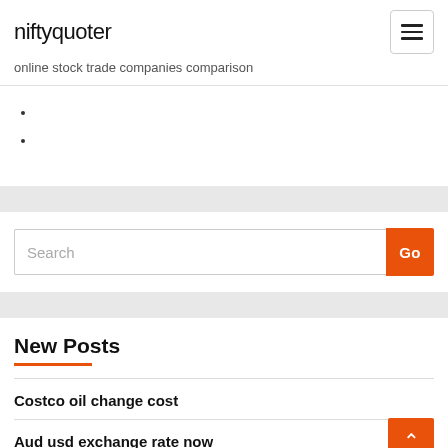niftyquoter
online stock trade companies comparison
Search
New Posts
Costco oil change cost
Aud usd exchange rate now